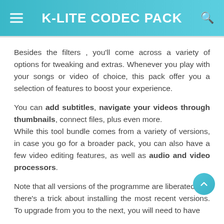K-LITE CODEC PACK
Besides the filters , you'll come across a variety of options for tweaking and extras. Whenever you play with your songs or video of choice, this pack offer you a selection of features to boost your experience.
You can add subtitles, navigate your videos through thumbnails, connect files, plus even more. While this tool bundle comes from a variety of versions, in case you go for a broader pack, you can also have a few video editing features, as well as audio and video processors.
Note that all versions of the programme are liberated, but there's a trick about installing the most recent versions. To upgrade from you to the next, you will need to have